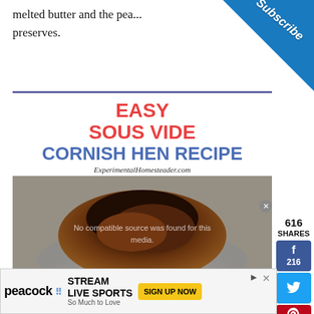melted butter and the pea... preserves.
[Figure (infographic): Subscribe banner triangle in top right corner with blue background and white italic text 'Subscribe']
EASY SOUS VIDE CORNISH HEN RECIPE
ExperimentalHomesteader.com
[Figure (photo): Photo of a cooked Cornish hen, browned and seasoned, with overlay text: No compatible source was found for this media.]
616 SHARES
[Figure (infographic): Social share sidebar with Facebook (216), Twitter, Pinterest (400) buttons]
[Figure (infographic): Peacock advertisement banner: STREAM LIVE SPORTS So Much to Love, SIGN UP NOW button]